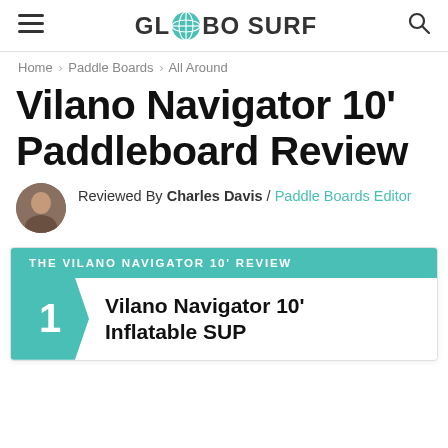GLOBO SURF
Home › Paddle Boards › All Around
Vilano Navigator 10' Paddleboard Review
Reviewed By Charles Davis / Paddle Boards Editor
THE VILANO NAVIGATOR 10' REVIEW
1 Vilano Navigator 10' Inflatable SUP